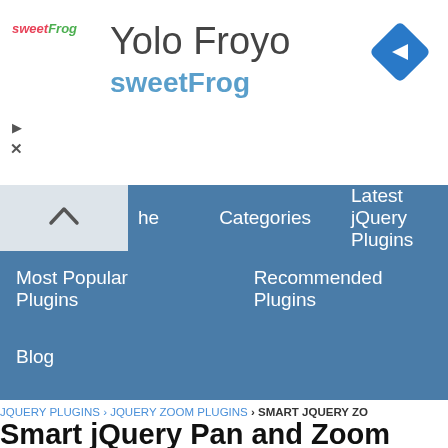[Figure (screenshot): sweetFrog ad banner with logo, 'Yolo Froyo' title, 'sweetFrog' subtitle in blue, and a blue diamond navigation arrow icon on the right]
[Figure (screenshot): Navigation menu with dark blue background showing: home (partial), Categories, Latest jQuery Plugins, Most Popular Plugins, Recommended Plugins, Blog]
JQUERY PLUGINS › JQUERY ZOOM PLUGINS › SMART JQUERY ZO...
Smart jQuery Pan and Zoom Plugin - Smart jQuery Zoom
[Figure (screenshot): Partial screenshot of a jQuery Pan and Zoom plugin demo showing a coastal/water scene with zoom controls overlay (+/-) and directional arrow pad]